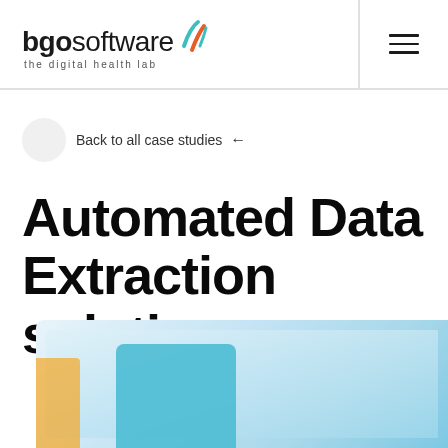[Figure (logo): BGO Software logo with tagline 'the digital health lab' and a decorative accent graphic in teal and orange]
Back to all case studies ←
Automated Data Extraction solution
[Figure (illustration): Partial illustration showing a digital dashboard or data visualization interface with blue and teal gradients, partially visible at the bottom of the page]